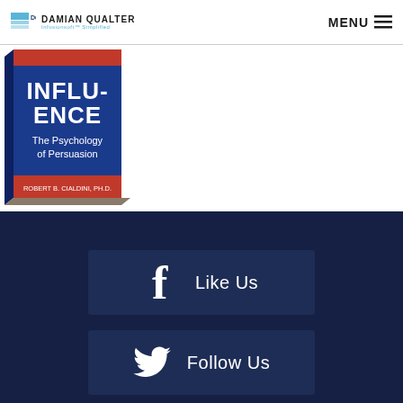DAMIAN QUALTER — Infusionsoft™ Simplified — MENU
[Figure (photo): Book cover of 'Influence: The Psychology of Persuasion' by Robert B. Cialdini, Ph.D., shown as a 3D angled book]
[Figure (infographic): Dark navy blue social media button with Facebook icon and text 'Like Us']
[Figure (infographic): Dark navy blue social media button with Twitter bird icon and text 'Follow Us']